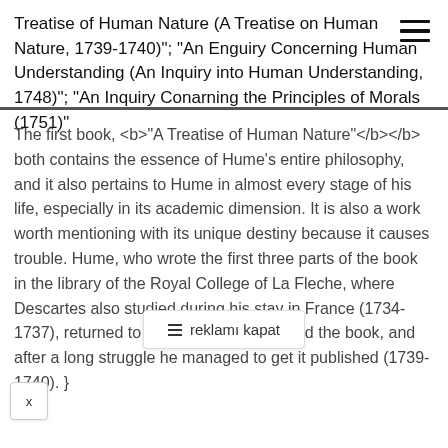Treatise of Human Nature (A Treatise on Human Nature, 1739-1740)"; "An Enguiry Concerning Human Understanding (An Inquiry into Human Understanding, 1748)"; "An Inquiry Conarning the Principles of Morals (1751)"
The first book, "A Treatise of Human Nature" both contains the essence of Hume's entire philosophy, and it also pertains to Hume in almost every stage of his life, especially in its academic dimension. It is also a work worth mentioning with its unique destiny because it causes trouble. Hume, who wrote the first three parts of the book in the library of the Royal College of La Fleche, where Descartes also studied during his stay in France (1734-1737), returned to England and completed the book, and after a long struggle he managed to get it published (1739-1740).